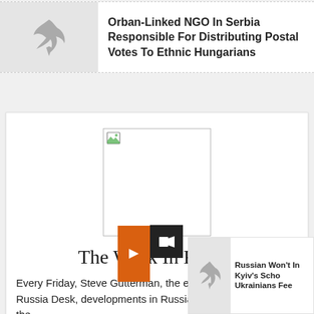[Figure (photo): Thumbnail placeholder with a grey background and a small bird/arrow logo]
Orban-Linked NGO In Serbia Responsible For Distributing Postal Votes To Ethnic Hungarians
[Figure (photo): Broken image placeholder in a white card]
The Week In Russia
Every Friday, Steve Gutterman, the editor of RFE/RL's Russia Desk, developments in Russia and offers some of the
[Figure (photo): Side card thumbnail with broken image and partial headline: Russian Won't In Kyiv's Scho Ukrainians Fee]